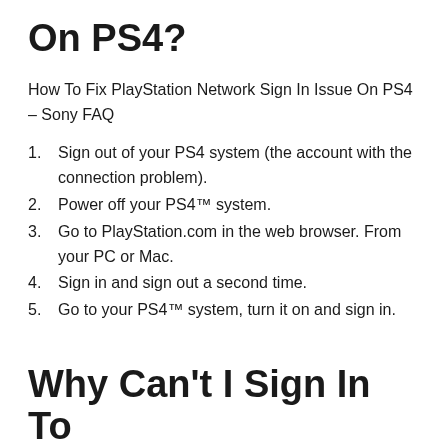On PS4?
How To Fix PlayStation Network Sign In Issue On PS4 – Sony FAQ
Sign out of your PS4 system (the account with the connection problem).
Power off your PS4™ system.
Go to PlayStation.com in the web browser. From your PC or Mac.
Sign in and sign out a second time.
Go to your PS4™ system, turn it on and sign in.
Why Can't I Sign In To